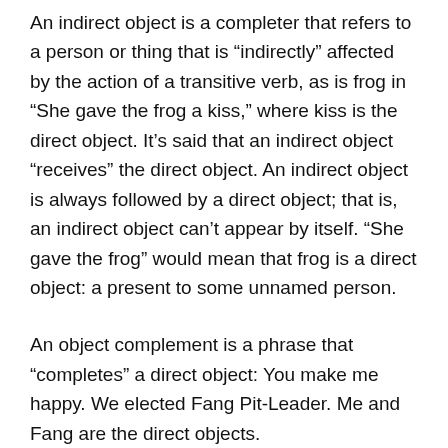An indirect object is a completer that refers to a person or thing that is “indirectly” affected by the action of a transitive verb, as is frog in “She gave the frog a kiss,” where kiss is the direct object. It’s said that an indirect object “receives” the direct object. An indirect object is always followed by a direct object; that is, an indirect object can’t appear by itself. “She gave the frog” would mean that frog is a direct object: a present to some unnamed person.
An object complement is a phrase that “completes” a direct object: You make me happy. We elected Fang Pit-Leader. Me and Fang are the direct objects.
Double Completer: Something directly completes the...